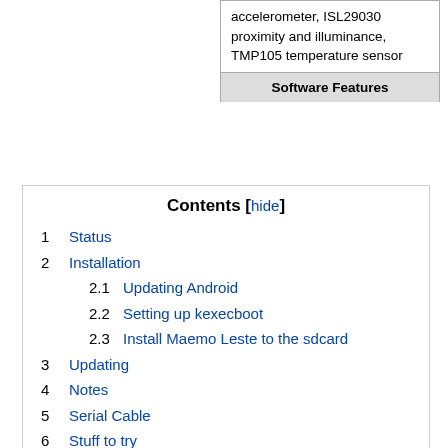| accelerometer, ISL29030 proximity and illuminance, TMP105 temperature sensor |
| Software Features |
Contents [hide]
1 Status
2 Installation
2.1 Updating Android
2.2 Setting up kexecboot
2.3 Install Maemo Leste to the sdcard
3 Updating
4 Notes
5 Serial Cable
6 Stuff to try
6.1 Blinkenlights
6.2 Wifi
6.3 Phone Call
6.4 3G Internet
6.5 GPS
6.6 USSD
6.7 HDMI
6.8 Keyboard / Mouse sharing with PC